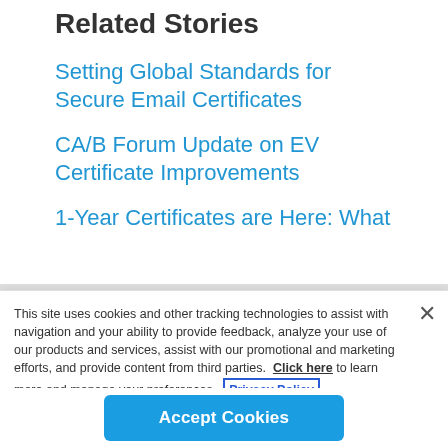Related Stories
Setting Global Standards for Secure Email Certificates
CA/B Forum Update on EV Certificate Improvements
1-Year Certificates are Here: What
This site uses cookies and other tracking technologies to assist with navigation and your ability to provide feedback, analyze your use of our products and services, assist with our promotional and marketing efforts, and provide content from third parties. Click here to learn more and manage your preferences. Privacy Policy
Accept Cookies